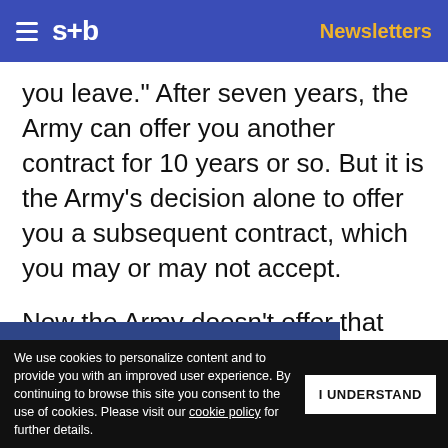s+b | Newsletters
you leave." After seven years, the Army can offer you another contract for 10 years or so. But it is the Army's decision alone to offer you a subsequent contract, which you may or may not accept.
Now the Army doesn't offer that contract to everyone. It assesses its needs and winnows ... to longer ... quires. It does
Get s+b's award-winning newsletter delivered to your inbox.
We use cookies to personalize content and to provide you with an improved user experience. By continuing to browse this site you consent to the use of cookies. Please visit our cookie policy for further details.